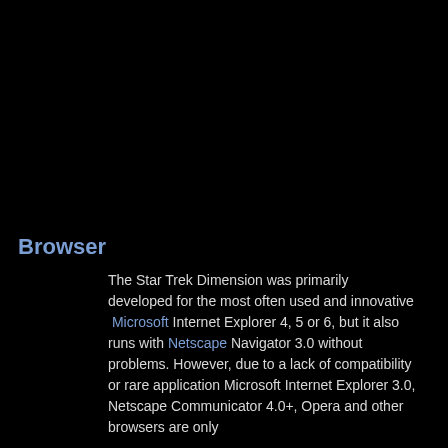Browser
The Star Trek Dimension was primarily developed for the most often used and innovative Microsoft Internet Explorer 4, 5 or 6, but it also runs with Netscape Navigator 3.0 without problems. However, due to a lack of compatibility or rare application Microsoft Internet Explorer 3.0, Netscape Communicator 4.0+, Opera and other browsers are only